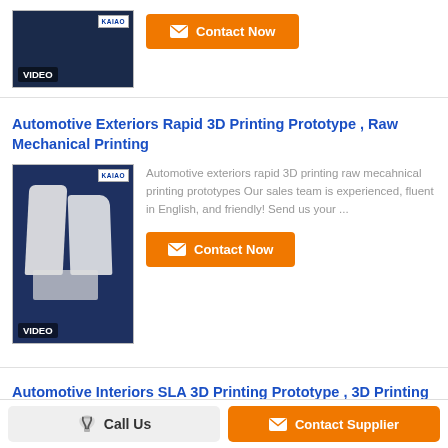[Figure (photo): Partial product thumbnail with VIDEO label and KAIAO logo, dark blue background]
[Figure (other): Contact Now button with envelope icon, orange background]
Automotive Exteriors Rapid 3D Printing Prototype , Raw Mechanical Printing
[Figure (photo): White 3D printed automotive exterior parts on blue background, VIDEO label and KAIAO logo]
Automotive exteriors rapid 3D printing raw mecahnical printing prototypes Our sales team is experienced, fluent in English, and friendly! Send us your ...
[Figure (other): Contact Now button with envelope icon, orange background]
Automotive Interiors SLA 3D Printing Prototype , 3D Printing Auto Parts
[Figure (photo): White 3D printed automotive interior part, grey background]
Automotive interiors SLA printing, 3D printing auto parts engineering Inspection facility 1. Digital display calliper; 2. Vernier calliper; 3. Shore ...
[Figure (other): Call Us button, grey background]
[Figure (other): Contact Supplier button, orange background]